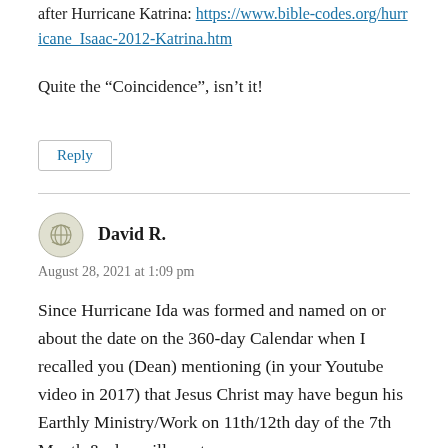after Hurricane Katrina: https://www.bible-codes.org/hurricane_Isaac-2012-Katrina.htm
Quite the “Coincidence”, isn’t it!
Reply
David R.
August 28, 2021 at 1:09 pm
Since Hurricane Ida was formed and named on or about the date on the 360-day Calendar when I recalled you (Dean) mentioning (in your Youtube video in 2017) that Jesus Christ may have begun his Earthly Ministry/Work on 11th/12th day of the 7th Month & also will most